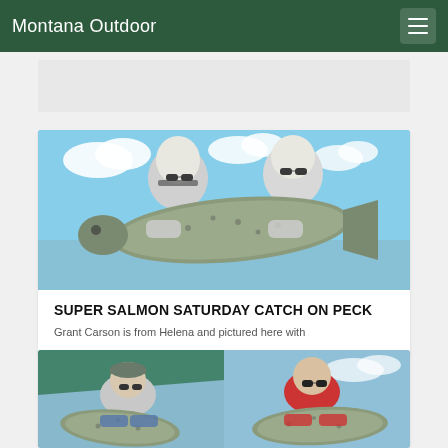Montana Outdoor
[Figure (photo): Gray/light colored ad or banner block placeholder]
[Figure (photo): Two people in hooded athletic shirts holding a large salmon fish outdoors with blue sky and clouds in background]
SUPER SALMON SATURDAY CATCH ON PECK
Grant Carson is from Helena and pictured here with
[Figure (photo): Split image showing two fishermen each holding a large salmon, one on the left in a blue shirt with a cap, one on the right in a red shirt with sunglasses, on a boat with water and sky in background]